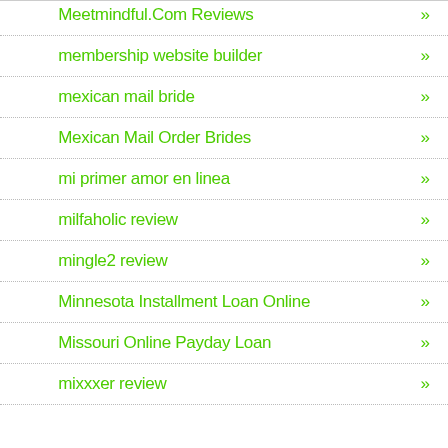Meetmindful.Com Reviews »
membership website builder »
mexican mail bride »
Mexican Mail Order Brides »
mi primer amor en linea »
milfaholic review »
mingle2 review »
Minnesota Installment Loan Online »
Missouri Online Payday Loan »
mixxxer review »